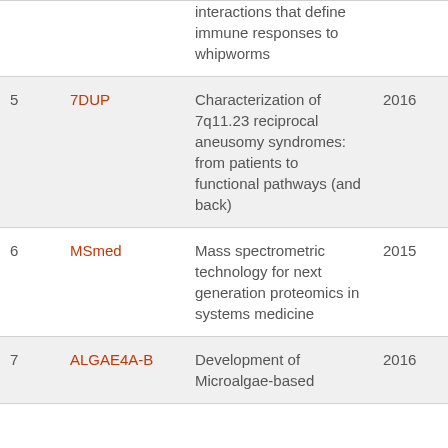| # | Code | Description | Year |
| --- | --- | --- | --- |
|  |  | interactions that define immune responses to whipworms |  |
| 5 | 7DUP | Characterization of 7q11.23 reciprocal aneusomy syndromes: from patients to functional pathways (and back) | 2016 |
| 6 | MSmed | Mass spectrometric technology for next generation proteomics in systems medicine | 2015 |
| 7 | ALGAE4A-B | Development of Microalgae-based... | 2016 |